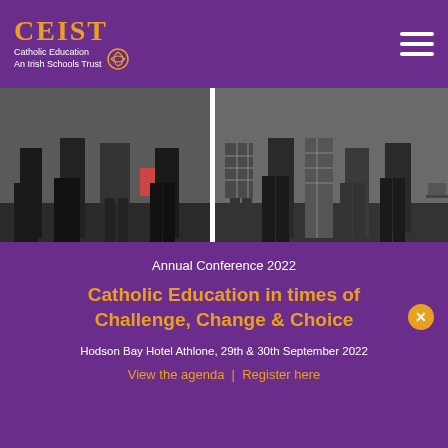CEIST | Catholic Education An Irish Schools Trust
[Figure (photo): Photo of a group of students and a teacher — the full group and the winning team with teacher Ms Kinsella, shown from waist/knees down, standing in what appears to be a school environment.]
The full group and the winning team with teacher Ms Kinsella
Annual Conference 2022
Catholic Education in times of Challenge, Change & Choice
Hodson Bay Hotel Athlone, 29th & 30th September 2022
View the agenda | Register here